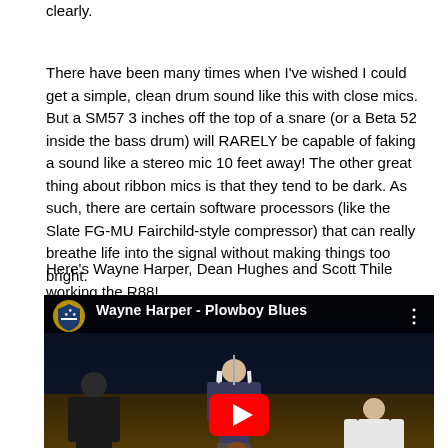clearly.
There have been many times when I've wished I could get a simple, clean drum sound like this with close mics. But a SM57 3 inches off the top of a snare (or a Beta 52 inside the bass drum) will RARELY be capable of faking a sound like a stereo mic 10 feet away! The other great thing about ribbon mics is that they tend to be dark. As such, there are certain software processors (like the Slate FG-MU Fairchild-style compressor) that can really breathe life into the signal without making things too bright.
Here's Wayne Harper, Dean Hughes and Scott Thile working the R88!
[Figure (screenshot): YouTube video thumbnail showing 'Wayne Harper - Plowboy Blues' with three musicians on a stage. A play button is visible in the center. The video has a shield logo in the top left corner.]